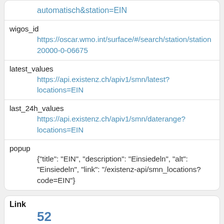| automatisch&station=EIN |
| wigos_id | https://oscar.wmo.int/surface/#/search/station/station
20000-0-06675 |
| latest_values | https://api.existenz.ch/apiv1/smn/latest?
locations=EIN |
| last_24h_values | https://api.existenz.ch/apiv1/smn/daterange?
locations=EIN |
| popup | {"title": "EIN", "description": "Einsiedeln", "alt": "Einsiedeln", "link": "/existenz-api/smn_locations?code=EIN"} |
| Link | 52 |
| rowid | 52 |
| code |  |